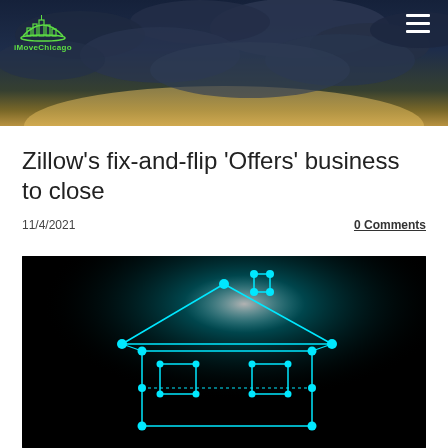[Figure (photo): Website header banner with dark stormy cloudy sky at dusk with warm sunset glow at horizon. iMoveChicago logo (green city skyline icon) at top left, hamburger menu icon at top right.]
Zillow's fix-and-flip 'Offers' business to close
11/4/2021
0 Comments
[Figure (photo): Dark background with glowing cyan/turquoise wireframe geometric house structure made of connected nodes and lines, forming roof and walls with lit node points at joints.]